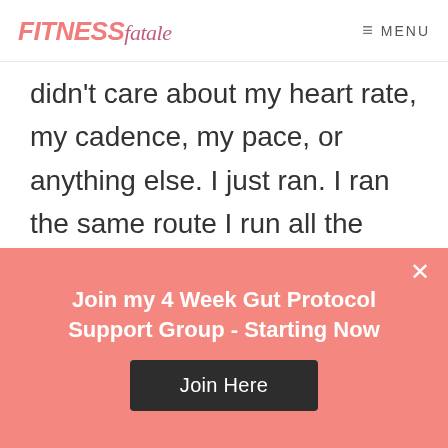FITNESS fatale  ≡ MENU
didn't care about my heart rate, my cadence, my pace, or anything else. I just ran. I ran the same route I run all the time yet it seemed even better than ever. Everyone was out and about on the sidewalks and the boardwalk yet the crowds which sometimes clog
Join my 4 Week Gut Protocol Support Group - Starting Now
Join Here